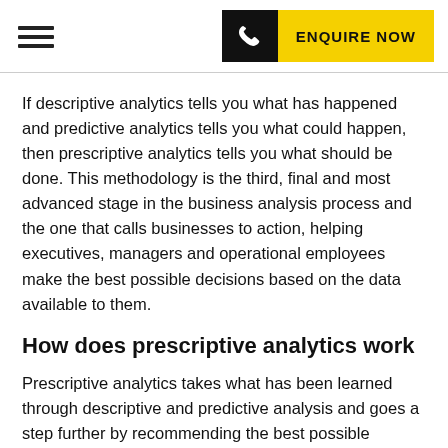ENQUIRE NOW
If descriptive analytics tells you what has happened and predictive analytics tells you what could happen, then prescriptive analytics tells you what should be done. This methodology is the third, final and most advanced stage in the business analysis process and the one that calls businesses to action, helping executives, managers and operational employees make the best possible decisions based on the data available to them.
How does prescriptive analytics work
Prescriptive analytics takes what has been learned through descriptive and predictive analysis and goes a step further by recommending the best possible courses of action for a business. This is